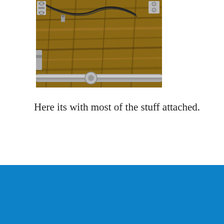[Figure (photo): A close-up photo of mechanical hardware components — metal rods, clamps, screws, and wiring — mounted on a wooden surface, showing an assembled device with multiple attachments.]
Here its with most of the stuff attached.